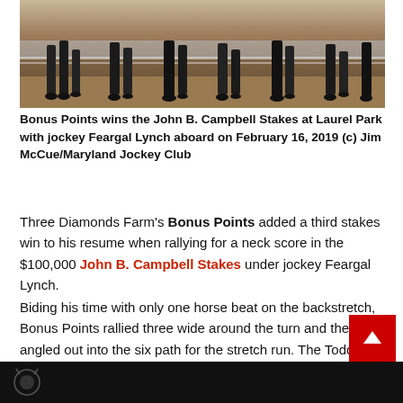[Figure (photo): Horse racing photo showing horses' legs mid-stride on a dirt track at Laurel Park]
Bonus Points wins the John B. Campbell Stakes at Laurel Park with jockey Feargal Lynch aboard on February 16, 2019 (c) Jim McCue/Maryland Jockey Club
Three Diamonds Farm's Bonus Points added a third stakes win to his resume when rallying for a neck score in the $100,000 John B. Campbell Stakes under jockey Feargal Lynch.
Biding his time with only one horse beat on the backstretch, Bonus Points rallied three wide around the turn and then angled out into the six path for the stretch run. The Todd Pletcher trainee bumped with Monongahela in the lane and dug in to get the victory over that 6-5 favorite and 2-1 second choice Unbridled Juan, who was another neck back in third on the wire.
[Figure (photo): Bottom partial photo, dark background with partial image visible]